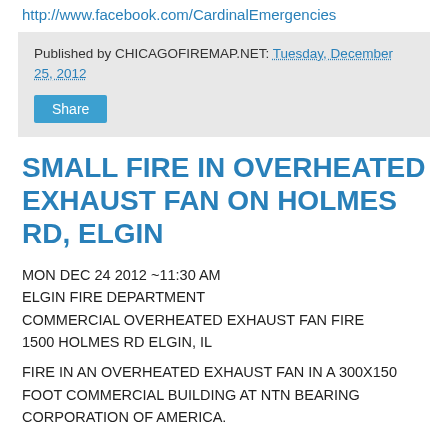http://www.facebook.com/CardinalEmergencies
Published by CHICAGOFIREMAP.NET: Tuesday, December 25, 2012
SMALL FIRE IN OVERHEATED EXHAUST FAN ON HOLMES RD, ELGIN
MON DEC 24 2012 ~11:30 AM
ELGIN FIRE DEPARTMENT
COMMERCIAL OVERHEATED EXHAUST FAN FIRE
1500 HOLMES RD ELGIN, IL
FIRE IN AN OVERHEATED EXHAUST FAN IN A 300X150 FOOT COMMERCIAL BUILDING AT NTN BEARING CORPORATION OF AMERICA.